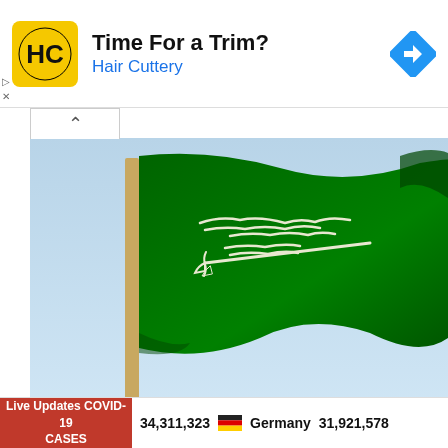[Figure (advertisement): Hair Cuttery advertisement banner with yellow logo, 'Time For a Trim?' headline, and navigation arrow icon]
[Figure (photo): Saudi Arabia national flag (green with white Arabic text and sword) waving against a light blue sky, on a flagpole]
Saudi's King Salman Humanitarian Aid
Live Updates COVID-19 CASES   34,311,323   Germany   31,921,578